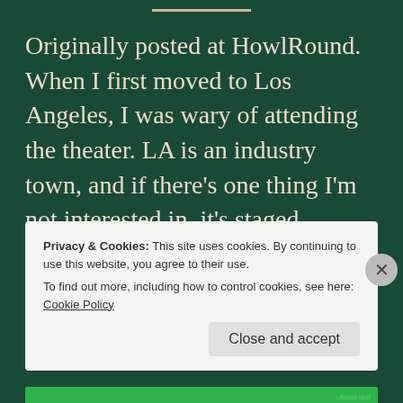Originally posted at HowlRound. When I first moved to Los Angeles, I was wary of attending the theater. LA is an industry town, and if there's one thing I'm not interested in, it's staged screenplays. Don't get me wrong–I love film. I just don't want to see it on stage. Because technology
Privacy & Cookies: This site uses cookies. By continuing to use this website, you agree to their use.
To find out more, including how to control cookies, see here: Cookie Policy
Close and accept